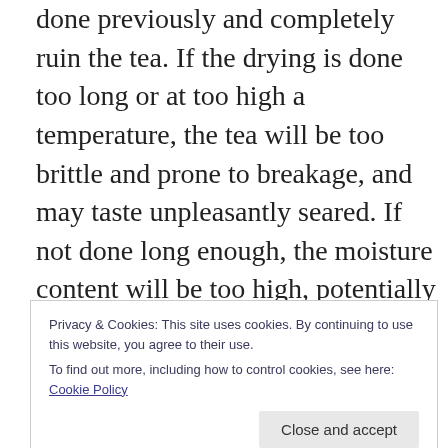done previously and completely ruin the tea. If the drying is done too long or at too high a temperature, the tea will be too brittle and prone to breakage, and may taste unpleasantly seared. If not done long enough, the moisture content will be too high, potentially causing mold growth. The drying process is not unique to green tea – all teas experience it to a degree – but given the relative delicacy of the flavours of green tea as compared with those of more oxidized teas, processing flaws are much more apparent in greens than they might be in, say, an Assam black tea.
Privacy & Cookies: This site uses cookies. By continuing to use this website, you agree to their use.
To find out more, including how to control cookies, see here: Cookie Policy